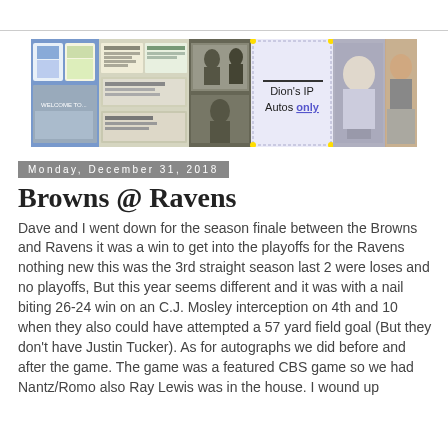[Figure (illustration): Banner image for a blog about autographs/memorabilia. Shows a horizontal strip with multiple sections: colorful sports cards and memorabilia images on left, document/check images in center-left, sports photos, a white center section with text 'Dion's IP Autos only', and portrait/player photos on the right.]
Monday, December 31, 2018
Browns @ Ravens
Dave and I went down for the season finale between the Browns and Ravens it was a win to get into the playoffs for the Ravens nothing new this was the 3rd straight season last 2 were loses and no playoffs, But this year seems different and it was with a nail biting 26-24 win on an C.J. Mosley interception on 4th and 10 when they also could have attempted a 57 yard field goal (But they don't have Justin Tucker).  As for autographs we did before and after the game.  The game was a featured CBS game so we had Nantz/Romo also Ray Lewis was in the house.  I wound up getting 23 Players and a total of 29 Autos, plus a Pic...